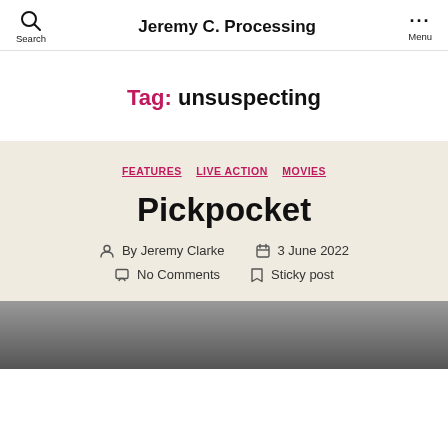Jeremy C. Processing
Tag: unsuspecting
FEATURES  LIVE ACTION  MOVIES
Pickpocket
By Jeremy Clarke  3 June 2022  No Comments  Sticky post
[Figure (photo): Black and white photo of a person, partially visible at bottom of page]